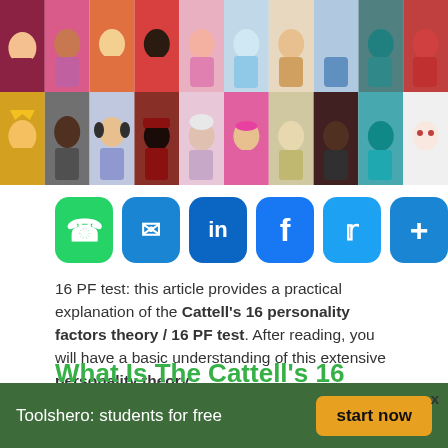[Figure (illustration): Two rows of colorful cartoon illustrated people/avatars with diverse appearances, hairstyles, and clothing in a grid banner]
[Figure (infographic): Social sharing buttons row: WhatsApp (green), Email (blue), LinkedIn (blue), Facebook (blue), Twitter (blue), Share/Plus (blue)]
16 PF test: this article provides a practical explanation of the Cattell's 16 personality factors theory / 16 PF test. After reading, you will have a basic understanding of this extensive personality theory.
What Is The Cattell's 16 personality factors or 16 PF test?
Toolshero: students for free   start now   X